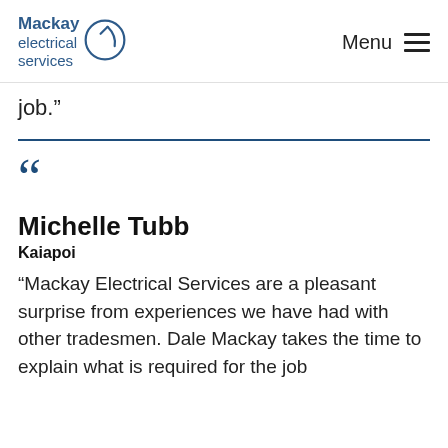Mackay electrical services | Menu
job.”
“Mackay Electrical Services are a pleasant surprise from experiences we have had with other tradesmen. Dale Mackay takes the time to explain what is required for the job
Michelle Tubb
Kaiapoi